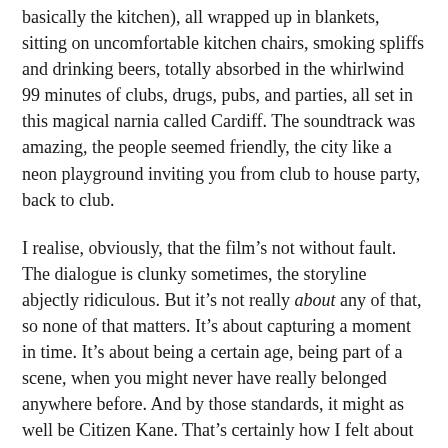basically the kitchen), all wrapped up in blankets, sitting on uncomfortable kitchen chairs, smoking spliffs and drinking beers, totally absorbed in the whirlwind 99 minutes of clubs, drugs, pubs, and parties, all set in this magical narnia called Cardiff. The soundtrack was amazing, the people seemed friendly, the city like a neon playground inviting you from club to house party, back to club.
I realise, obviously, that the film’s not without fault. The dialogue is clunky sometimes, the storyline abjectly ridiculous. But it’s not really about any of that, so none of that matters. It’s about capturing a moment in time. It’s about being a certain age, being part of a scene, when you might never have really belonged anywhere before. And by those standards, it might as well be Citizen Kane. That’s certainly how I felt about it.
Also Danny Dyer. It is most definitely about Danny Dyer.
I was super fed up with Reading, and my friend Pete was at uni